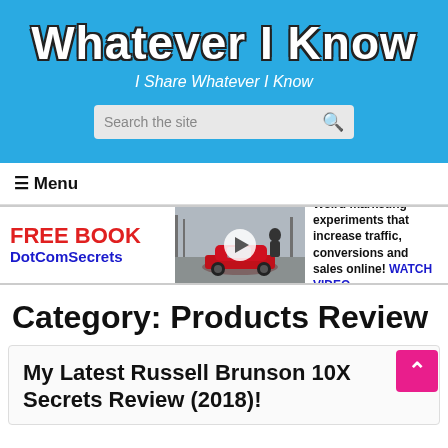Whatever I Know
I Share Whatever I Know
≡Menu
[Figure (screenshot): Advertisement banner for free book DotComSecrets with a video thumbnail of a man standing near a red sports car outdoors, and text: 'Weird marketing experiments that increase traffic, conversions and sales online! WATCH VIDEO']
Category: Products Review
My Latest Russell Brunson 10X Secrets Review (2018)!